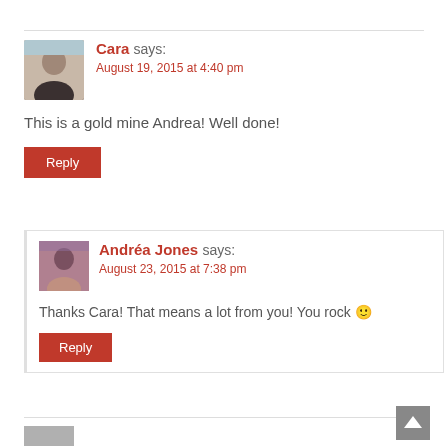Cara says:
August 19, 2015 at 4:40 pm
This is a gold mine Andrea! Well done!
Reply
Andréa Jones says:
August 23, 2015 at 7:38 pm
Thanks Cara! That means a lot from you! You rock 🙂
Reply